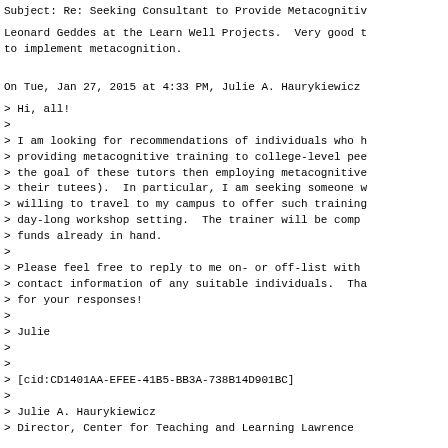Subject: Re: Seeking Consultant to Provide Metacognitiv
Leonard Geddes at the Learn Well Projects.  Very good t
to implement metacognition.
On Tue, Jan 27, 2015 at 4:33 PM, Julie A. Haurykiewicz
> Hi, all!
>
> I am looking for recommendations of individuals who h
> providing metacognitive training to college-level pee
> the goal of these tutors then employing metacognitive
> their tutees).  In particular, I am seeking someone w
> willing to travel to my campus to offer such training
> day-long workshop setting.  The trainer will be comp
> funds already in hand.
>
> Please feel free to reply to me on- or off-list with
> contact information of any suitable individuals.  Tha
> for your responses!
>
> Julie
>
>
> [cid:CD1401AA-EFEE-41B5-BB3A-738B14D901BC]
>
> Julie A. Haurykiewicz
> Director, Center for Teaching and Learning Lawrence